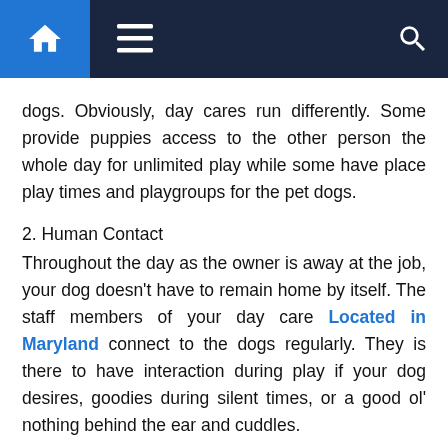Navigation bar with home, menu, and search icons
dogs. Obviously, day cares run differently. Some provide puppies access to the other person the whole day for unlimited play while some have place play times and playgroups for the pet dogs.
2. Human Contact
Throughout the day as the owner is away at the job, your dog doesn't have to remain home by itself. The staff members of your day care Located in Maryland connect to the dogs regularly. They is there to have interaction during play if your dog desires, goodies during silent times, or a good ol' nothing behind the ear and cuddles.
3. Expert-Supervised Playtime
Often owners themselves aren't comfortable monitoring play between pet dogs. They aren't acquainted with what's appropriate and what's dangerous. An effective daycare has